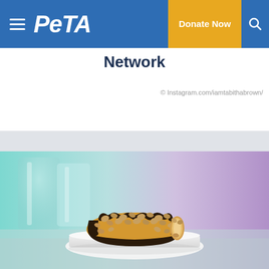PETA navigation bar with Donate Now button and search
Network
© Instagram.com/iamtabithabrown/
[Figure (photo): A vegan dessert or food item — appears to be a chocolate-dipped treat topped with peanuts, sitting on a white square plate. Background has teal/cyan gradient on the left and purple/lavender gradient on the right, with a blurred glass in the background. Shown on what appears to be a cooking show set.]